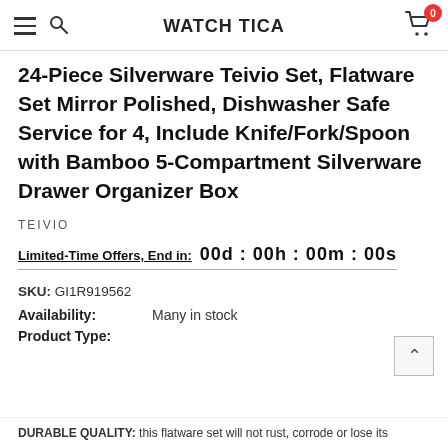WATCH TICA
24-Piece Silverware Teivio Set, Flatware Set Mirror Polished, Dishwasher Safe Service for 4, Include Knife/Fork/Spoon with Bamboo 5-Compartment Silverware Drawer Organizer Box
TEIVIO
Limited-Time Offers, End in:  00d : 00h : 00m : 00s
SKU: GI1R919562
Availability: Many in stock
Product Type:
DURABLE QUALITY: this flatware set will not rust, corrode or lose its